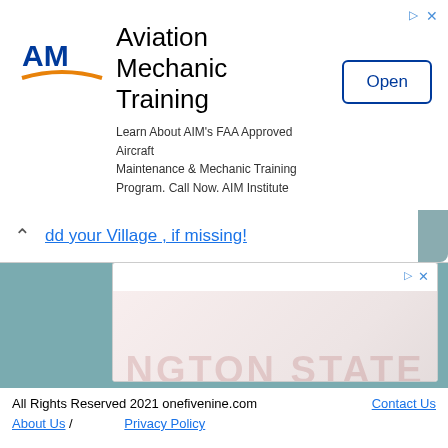[Figure (screenshot): Aviation Mechanic Training advertisement banner with AIM Institute logo, 'Open' button, and text: Learn About AIM's FAA Approved Aircraft Maintenance & Mechanic Training Program. Call Now. AIM Institute]
dd your Village , if missing!
[Figure (screenshot): Washington State University online graduate degree advertisement. Shows 'Graduate Online in 16 Months' headline and 'Graduate from Top-Ranked Washington State University 100% Online.' with WSU logo.]
All Rights Reserved 2021 onefivenine.com   Contact Us
About Us /            Privacy Policy